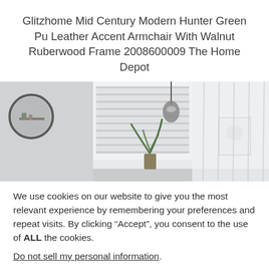Glitzhome Mid Century Modern Hunter Green Pu Leather Accent Armchair With Walnut Ruberwood Frame 2008600009 The Home Depot
[Figure (photo): Interior room photo showing a light gray room with white roller blinds on a window, sheer white curtains on tall windows to the right, a round wall-mounted shelf on the left, a framed artwork on the wall, a hanging pendant light, and a green potted plant.]
We use cookies on our website to give you the most relevant experience by remembering your preferences and repeat visits. By clicking “Accept”, you consent to the use of ALL the cookies.
Do not sell my personal information.
Cookie Settings   Accept